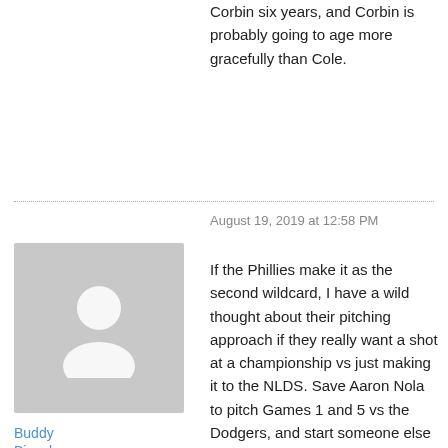Corbin six years, and Corbin is probably going to age more gracefully than Cole.
August 19, 2019 at 12:58 PM
[Figure (illustration): Generic user avatar silhouette on gray background]
Buddy Bianclana
If the Phillies make it as the second wildcard, I have a wild thought about their pitching approach if they really want a shot at a championship vs just making it to the NLDS. Save Aaron Nola to pitch Games 1 and 5 vs the Dodgers, and start someone else in the wildcard game. If you use Nola in the WC game, and only use him in Game 3 or 4 vs the Dodgers, I don't see how any combination of Vargas, Smyly, W, and